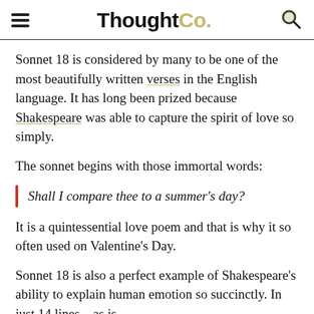ThoughtCo.
Sonnet 18 is considered by many to be one of the most beautifully written verses in the English language. It has long been prized because Shakespeare was able to capture the spirit of love so simply.
The sonnet begins with those immortal words:
Shall I compare thee to a summer's day?
It is a quintessential love poem and that is why it so often used on Valentine's Day.
Sonnet 18 is also a perfect example of Shakespeare's ability to explain human emotion so succinctly. In just 14 lines—as is